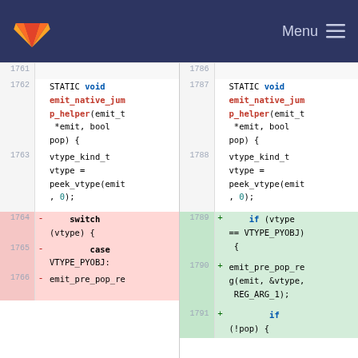GitLab logo | Menu
[Figure (screenshot): Code diff view showing two columns. Left column (lines 1761-1766) shows removed code with switch/case statement. Right column (lines 1786-1791) shows added code with if statement. Both sides show STATIC void emit_native_jump_helper function.]